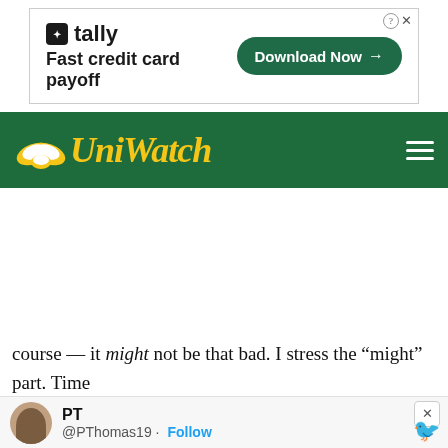[Figure (screenshot): Advertisement banner for Tally app - Fast credit card payoff with Download Now button]
Uni Watch
course — it might not be that bad. I stress the “might” part. Time tell.
[Figure (screenshot): Tweet embed from PT @PThomas19 with Follow button and Twitter bird icon]